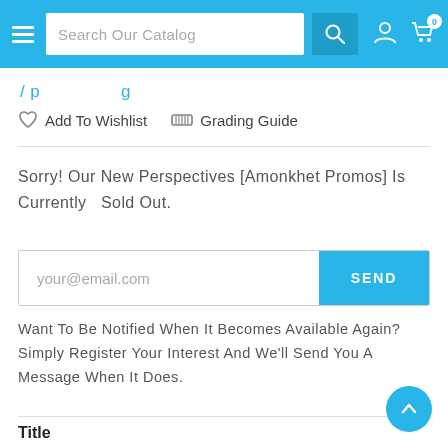Search Our Catalog
Add To Wishlist   Grading Guide
Sorry! Our New Perspectives [Amonkhet Promos] Is Currently  Sold Out.
your@email.com  SEND
Want To Be Notified When It Becomes Available Again? Simply Register Your Interest And We'll Send You A Message When It Does.
Title
Near Mint Foil
Lightly Played Foil
Moderately Played Foil
Heavily Played Foil